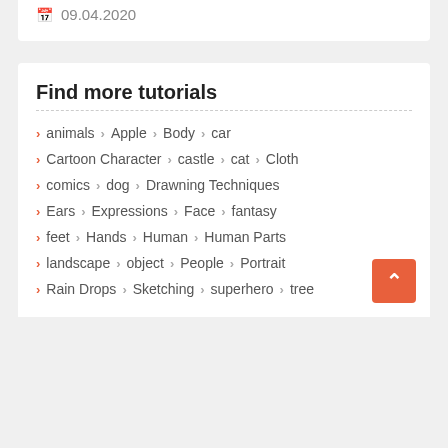09.04.2020
Find more tutorials
animals › Apple › Body › car
Cartoon Character › castle › cat › Cloth
comics › dog › Drawning Techniques
Ears › Expressions › Face › fantasy
feet › Hands › Human › Human Parts
landscape › object › People › Portrait
Rain Drops › Sketching › superhero › tree